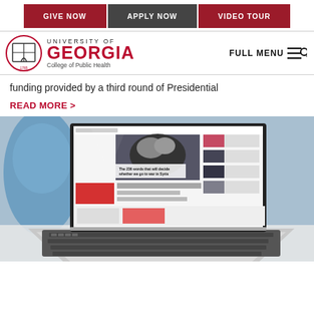GIVE NOW | APPLY NOW | VIDEO TOUR
[Figure (logo): University of Georgia College of Public Health logo with arch icon]
funding provided by a third round of Presidential
READ MORE >
[Figure (photo): Photo of a laptop computer opened to a news website showing an article titled 'The 236 words that will decide whether we go to war in Syria']